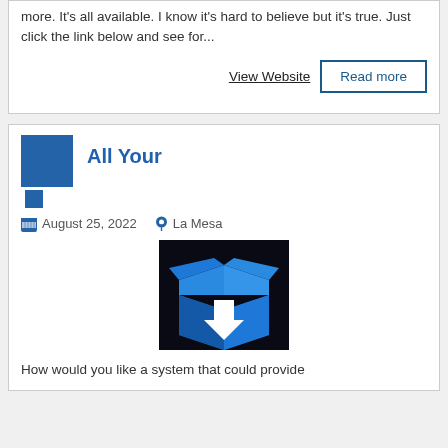more. It's all available. I know it's hard to believe but it's true. Just click the link below and see for...
View Website
Read more
All Your
August 25, 2022   La Mesa
[Figure (illustration): A blue open box with a white downward arrow icon on a dark background]
How would you like a system that could provide